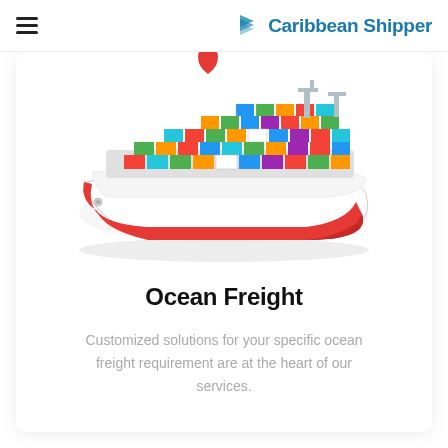Caribbean Shipper
[Figure (illustration): 3D isometric illustration of a large container ship loaded with colorful shipping containers (blue, green, orange, red, white, teal) with a red hull and white bow, viewed from a top-front angle on a white background with a subtle shadow.]
Ocean Freight
Customized solutions for your specific ocean freight requirement are at the heart of our services.